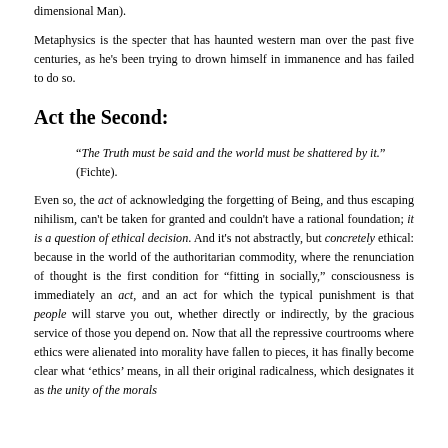dimensional Man).
Metaphysics is the specter that has haunted western man over the past five centuries, as he's been trying to drown himself in immanence and has failed to do so.
Act the Second:
“The Truth must be said and the world must be shattered by it.” (Fichte).
Even so, the act of acknowledging the forgetting of Being, and thus escaping nihilism, can't be taken for granted and couldn't have a rational foundation; it is a question of ethical decision. And it's not abstractly, but concretely ethical: because in the world of the authoritarian commodity, where the renunciation of thought is the first condition for “fitting in socially,” consciousness is immediately an act, and an act for which the typical punishment is that people will starve you out, whether directly or indirectly, by the gracious service of those you depend on. Now that all the repressive courtrooms where ethics were alienated into morality have fallen to pieces, it has finally become clear what ‘ethics’ means, in all their original radicalness, which designates it as the unity of the morals